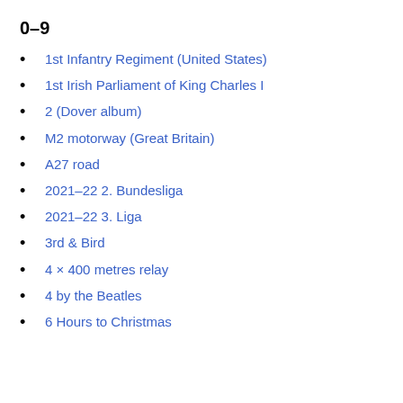0–9
1st Infantry Regiment (United States)
1st Irish Parliament of King Charles I
2 (Dover album)
M2 motorway (Great Britain)
A27 road
2021–22 2. Bundesliga
2021–22 3. Liga
3rd & Bird
4 × 400 metres relay
4 by the Beatles
6 Hours to Christmas